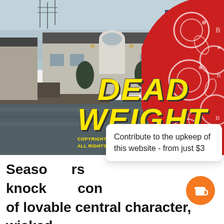[Figure (screenshot): Film title card screenshot showing 'DEAD WEIGHT' in large yellow italic text over a waterfront building scene, with a red bandana partially visible on the right side. Copyright text reads: COPYRIGHT © MCMLXXI BY UNIVERSAL CITY STUDIOS, INC. ALL RIGHTS RESERVED]
Contribute to the upkeep of this website - from just $3
Seaso  rs knock  co of lovable central character, wicked